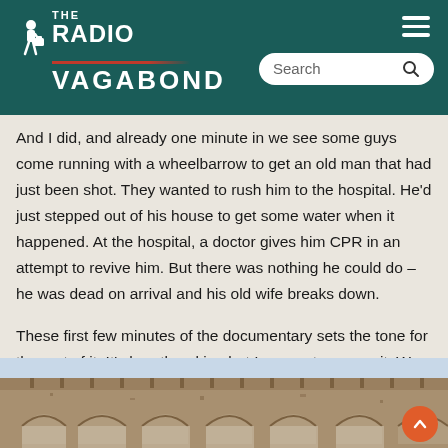THE RADIO VAGABOND
And I did, and already one minute in we see some guys come running with a wheelbarrow to get an old man that had just been shot. They wanted to rush him to the hospital. He'd just stepped out of his house to get some water when it happened. At the hospital, a doctor gives him CPR in an attempt to revive him. But there was nothing he could do – he was dead on arrival and his old wife breaks down.
These first few minutes of the documentary sets the tone for the rest of it. It's heartbreaking but I suggest you see it. We should all see it and learn from it.
[Figure (photo): Exterior of a worn brick building with arched windows showing battle damage or deterioration, photographed from below looking up.]